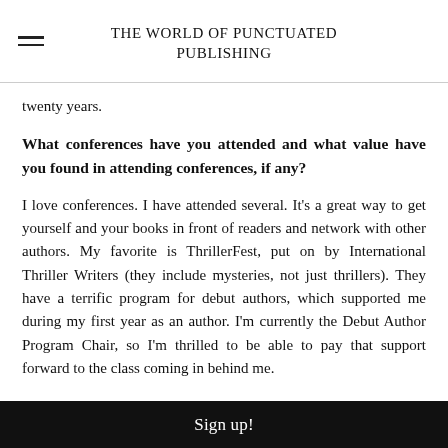THE WORLD OF PUNCTUATED PUBLISHING
twenty years.
What conferences have you attended and what value have you found in attending conferences, if any?
I love conferences. I have attended several. It's a great way to get yourself and your books in front of readers and network with other authors. My favorite is ThrillerFest, put on by International Thriller Writers (they include mysteries, not just thrillers). They have a terrific program for debut authors, which supported me during my first year as an author. I'm currently the Debut Author Program Chair, so I'm thrilled to be able to pay that support forward to the class coming in behind me.
Sign up!